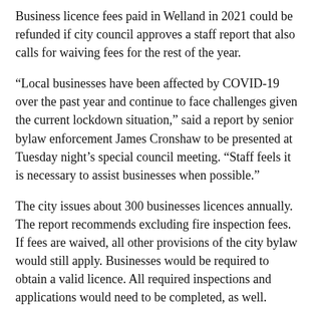Business licence fees paid in Welland in 2021 could be refunded if city council approves a staff report that also calls for waiving fees for the rest of the year.
“Local businesses have been affected by COVID-19 over the past year and continue to face challenges given the current lockdown situation,” said a report by senior bylaw enforcement James Cronshaw to be presented at Tuesday night’s special council meeting. “Staff feels it is necessary to assist businesses when possible.”
The city issues about 300 businesses licences annually. The report recommends excluding fire inspection fees. If fees are waived, all other provisions of the city bylaw would still apply. Businesses would be required to obtain a valid licence. All required inspections and applications would need to be completed, as well.
Other municipalities across Ontario, including St. Catharines and Fort Erie, have waived business licensing fees for at least those industries that were most